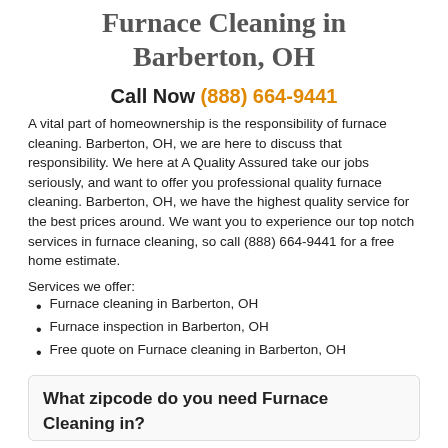Furnace Cleaning in Barberton, OH
Call Now (888) 664-9441
A vital part of homeownership is the responsibility of furnace cleaning. Barberton, OH, we are here to discuss that responsibility. We here at A Quality Assured take our jobs seriously, and want to offer you professional quality furnace cleaning. Barberton, OH, we have the highest quality service for the best prices around. We want you to experience our top notch services in furnace cleaning, so call (888) 664-9441 for a free home estimate.
Services we offer:
Furnace cleaning in Barberton, OH
Furnace inspection in Barberton, OH
Free quote on Furnace cleaning in Barberton, OH
What zipcode do you need Furnace Cleaning in?